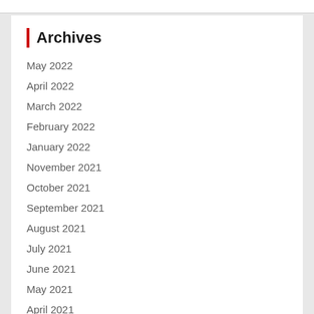Archives
May 2022
April 2022
March 2022
February 2022
January 2022
November 2021
October 2021
September 2021
August 2021
July 2021
June 2021
May 2021
April 2021
March 2021